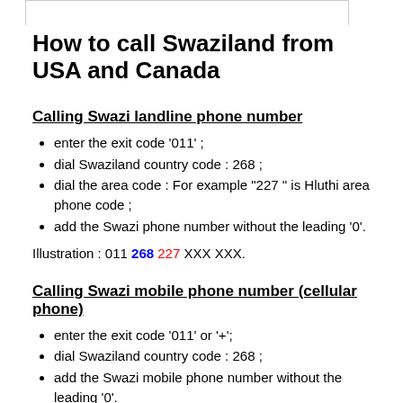How to call Swaziland from USA and Canada
Calling Swazi landline phone number
enter the exit code '011' ;
dial Swaziland country code : 268 ;
dial the area code : For example "227 " is Hluthi area phone code ;
add the Swazi phone number without the leading '0'.
Illustration : 011 268 227 XXX XXX.
Calling Swazi mobile phone number (cellular phone)
enter the exit code '011' or '+';
dial Swaziland country code : 268 ;
add the Swazi mobile phone number without the leading '0'.